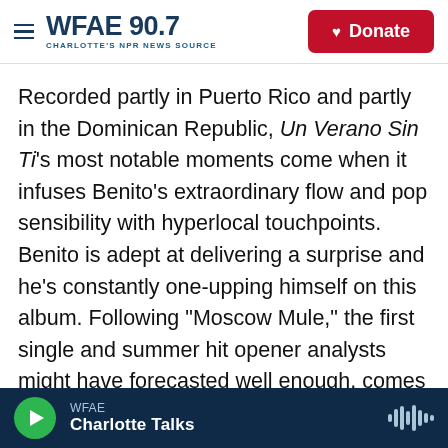WFAE 90.7 CHARLOTTE'S NPR NEWS SOURCE | Donate
Recorded partly in Puerto Rico and partly in the Dominican Republic, Un Verano Sin Ti's most notable moments come when it infuses Benito's extraordinary flow and pop sensibility with hyperlocal touchpoints. Benito is adept at delivering a surprise and he's constantly one-upping himself on this album. Following "Moscow Mule," the first single and summer hit opener analysts might have forecasted well enough, comes the left-field "Después de la Playa." After Benito warms up the chorus over a few, spacey opening synths, he taps the mic and transforms into a mambero, his
WFAE | Charlotte Talks